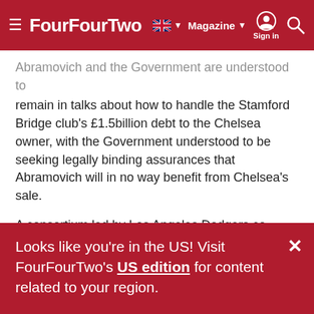FourFourTwo — Magazine | Sign in
Abramovich and the Government are understood to remain in talks about how to handle the Stamford Bridge club's £1.5billion debt to the Chelsea owner, with the Government understood to be seeking legally binding assurances that Abramovich will in no way benefit from Chelsea's sale.
A consortium led by Los Angeles Dodgers co-owner Todd Boehly struck a purchase agreement to buy Chelsea for £4.25b earlier this month.
Dorries told the DCMS committee she could not comment further on Chelsea as it was a "live
Looks like you're in the US! Visit FourFourTwo's US edition for content related to your region.